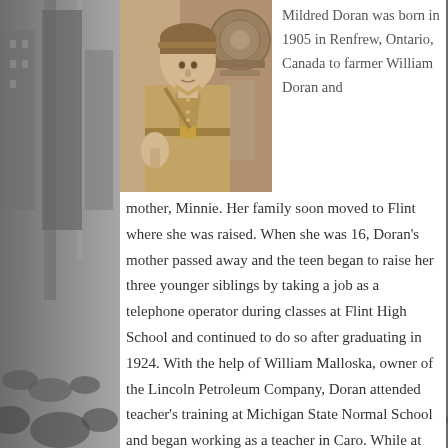[Figure (photo): Sepia-toned photograph of Mildred Doran in military-style uniform standing in front of an aircraft engine or vehicle]
Mildred Doran was born in 1905 in Renfrew, Ontario, Canada to farmer William Doran and mother, Minnie. Her family soon moved to Flint where she was raised. When she was 16, Doran's mother passed away and the teen began to raise her three younger siblings by taking a job as a telephone operator during classes at Flint High School and continued to do so after graduating in 1924. With the help of William Malloska, owner of the Lincoln Petroleum Company, Doran attended teacher's training at Michigan State Normal School and began working as a teacher in Caro. While at college, Doran became very interested in aviation and convinced Malloska to enter a plane into the